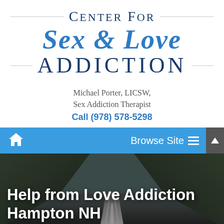Center for Sex & Love Addiction
Michael Porter, LICSW, Sex Addiction Therapist
Call (978) 578-5298
[Figure (screenshot): Navigation bar with home icon and Browse Site menu button]
[Figure (photo): Dark landscape photo of a road/railway disappearing into the distance between hills]
Help from Love Addiction Hampton NH